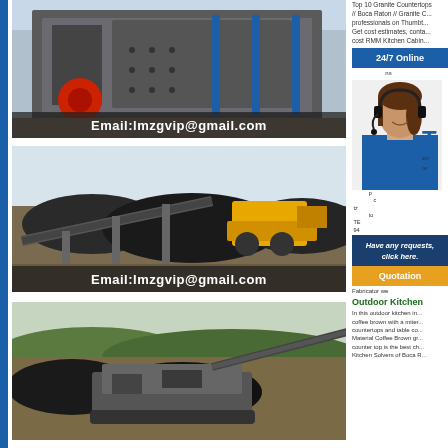[Figure (photo): Industrial crusher/mining machine with Email:lmzgvip@gmail.com overlay]
[Figure (photo): Mining site with loader and conveyor equipment, Email:lmzgvip@gmail.com overlay]
[Figure (photo): Mining/crushing equipment at outdoor site]
Top 10 Granite Countertops // Boca Raton // Granite C... professionals on Thumbt... Get cost estimates, conta... cost RMM Kitchen Cabin...
[Figure (photo): Customer service representative with headset]
24/7 Online
Have any requests, click here.
Quotation
Fabricator we
Outdoor Kitchen
In this outdoor kitchen in... coffee brown with a miter... countertops and table co... Material Coffee Brown gr... counter top is the best ch... Kitchen Solvers of Boca R...